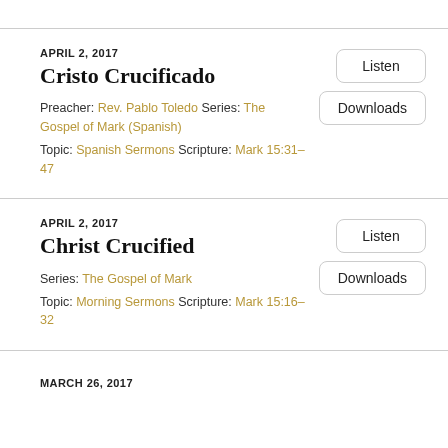APRIL 2, 2017
Cristo Crucificado
Preacher: Rev. Pablo Toledo Series: The Gospel of Mark (Spanish)
Topic: Spanish Sermons Scripture: Mark 15:31–47
APRIL 2, 2017
Christ Crucified
Series: The Gospel of Mark
Topic: Morning Sermons Scripture: Mark 15:16–32
MARCH 26, 2017